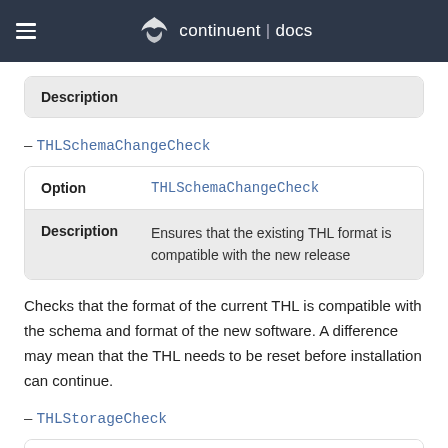continuent | docs
|  |  |
| --- | --- |
| Description |  |
– THLSchemaChangeCheck
| Option | THLSchemaChangeCheck |
| --- | --- |
| Description | Ensures that the existing THL format is compatible with the new release |
Checks that the format of the current THL is compatible with the schema and format of the new software. A difference may mean that the THL needs to be reset before installation can continue.
– THLStorageCheck
| Option | THLStorageCheck |
| --- | --- |